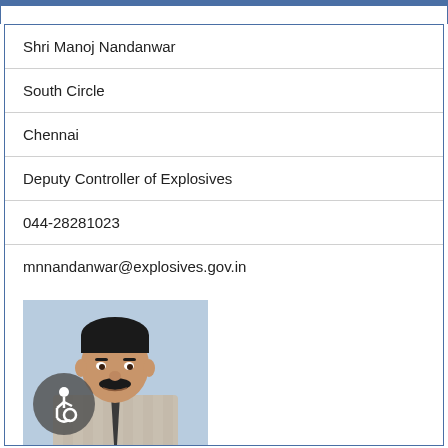| Shri Manoj Nandanwar |
| South Circle |
| Chennai |
| Deputy Controller of Explosives |
| 044-28281023 |
| mnnandanwar@explosives.gov.in |
[Figure (photo): Portrait photo of Shri Manoj Nandanwar, a man with black hair and mustache, wearing a striped shirt and dark tie, against a light blue background. An accessibility icon (wheelchair symbol) is visible in the lower left.]